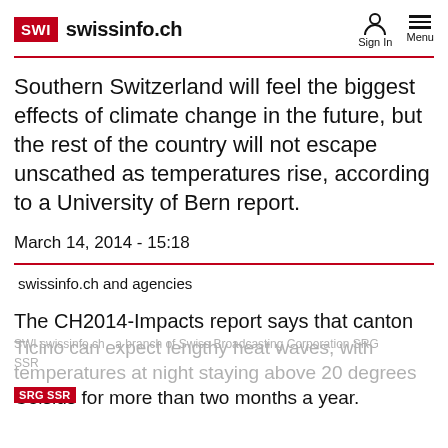SWI swissinfo.ch
Southern Switzerland will feel the biggest effects of climate change in the future, but the rest of the country will not escape unscathed as temperatures rise, according to a University of Bern report.
March 14, 2014 - 15:18
swissinfo.ch and agencies
The CH2014-Impacts report says that canton Ticino can expect lengthy heat waves, with temperatures at night staying above 20 degrees Celsius for more than two months a year.
SWI swissinfo.ch - a branch of Swiss Broadcasting Corporation SRG SSR